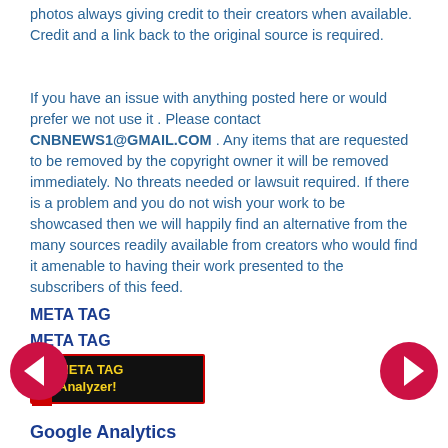photos always giving credit to their creators when available. Credit and a link back to the original source is required.
If you have an issue with anything posted here or would prefer we not use it . Please contact CNBNEWS1@GMAIL.COM . Any items that are requested to be removed by the copyright owner it will be removed immediately. No threats needed or lawsuit required. If there is a problem and you do not wish your work to be showcased then we will happily find an alternative from the many sources readily available from creators who would find it amenable to having their work presented to the subscribers of this feed.
META TAG
META TAG
[Figure (other): META TAG Analyzer badge with red border, black background, red 'Free' label on the left side, and yellow text reading 'META TAG Analyzer!']
[Figure (other): Left navigation arrow button - circular red button with white left-pointing arrow]
[Figure (other): Right navigation arrow button - circular red button with white right-pointing arrow]
Google Analytics